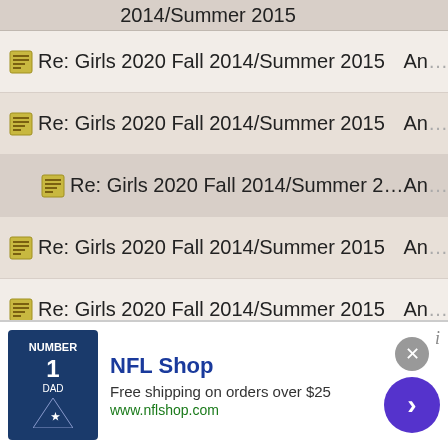2014/Summer 2015
Re: Girls 2020 Fall 2014/Summer 2015 - An...
Re: Girls 2020 Fall 2014/Summer 2015 - An...
Re: Girls 2020 Fall 2014/Summer 2015 - An...
Re: Girls 2020 Fall 2014/Summer 2015 - An...
Re: Girls 2020 Fall 2014/Summer 2015 - An...
Re: Girls 2020 Fall 2014/Summer 2015 - An...
Re: Girls 2020 Fall 2014/Summer 2015 - An...
Re: Girls 2020 Fall 2014/Summer 2015 - An...
Re: Girls 2020 Fall 2014/Summer 2015 - An...
Re: Girls 2020 Fall 2014/Summer 2015 - An...
Re: Girls 2020 Fall 2014/Summer 2015 - An...
Re: Girls 2020 Fall 2014/Summer 2015 - An...
Re: Girls 2020 Fall 2014/Summer 2015 - An...
[Figure (screenshot): NFL Shop advertisement banner: navy blue t-shirt, 'NFL Shop', 'Free shipping on orders over $25', 'www.nflshop.com', with close button and forward arrow]